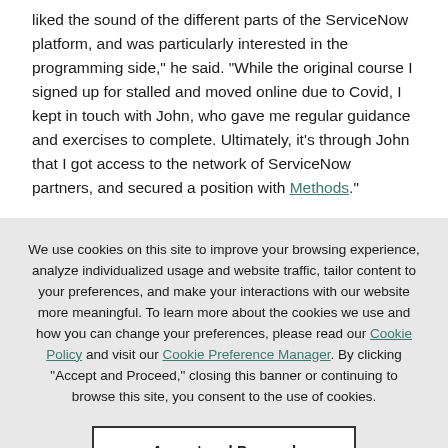liked the sound of the different parts of the ServiceNow platform, and was particularly interested in the programming side," he said. "While the original course I signed up for stalled and moved online due to Covid, I kept in touch with John, who gave me regular guidance and exercises to complete. Ultimately, it's through John that I got access to the network of ServiceNow partners, and secured a position with Methods."
We use cookies on this site to improve your browsing experience, analyze individualized usage and website traffic, tailor content to your preferences, and make your interactions with our website more meaningful. To learn more about the cookies we use and how you can change your preferences, please read our Cookie Policy and visit our Cookie Preference Manager. By clicking "Accept and Proceed," closing this banner or continuing to browse this site, you consent to the use of cookies.
Accept and Proceed